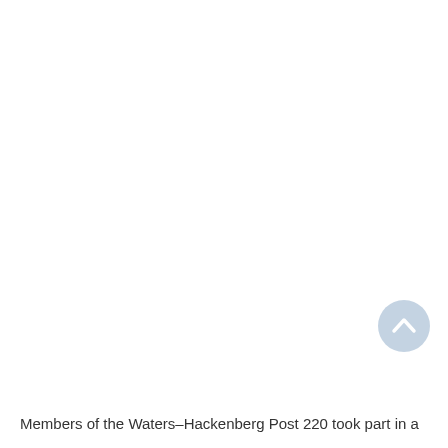[Figure (photo): Large white/blank photo area occupying most of the page, with a light blue circular scroll-to-top button in the lower right corner containing an upward chevron arrow.]
Members of the Waters-Hackenberg Post 220 took part in a